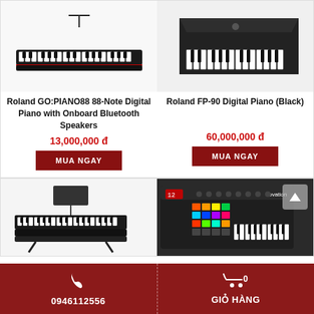[Figure (photo): Roland GO:PIANO88 digital piano keyboard from above angle on white background]
[Figure (photo): Roland FP-90 Digital Piano in black, close-up angled view of keys]
Roland GO:PIANO88 88-Note Digital Piano with Onboard Bluetooth Speakers
13,000,000 đ
MUA NGAY
Roland FP-90 Digital Piano (Black)
60,000,000 đ
MUA NGAY
[Figure (photo): Digital piano with stand, front view, black]
[Figure (photo): Novation Launchkey MIDI controller keyboard with colorful pads]
0946112556
GIỎ HÀNG